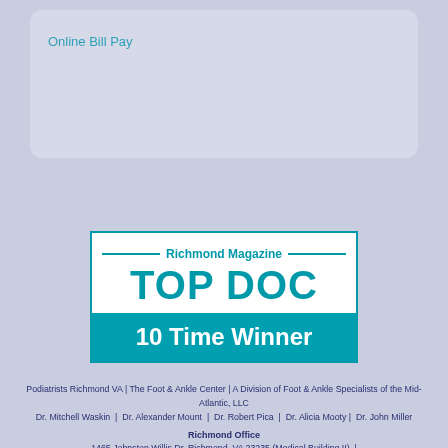Online Bill Pay
[Figure (infographic): Richmond Magazine TOP DOC 10 Time Winner award badge in teal and white]
Podiatrists Richmond VA | The Foot & Ankle Center | A Division of Foot & Ankle Specialists of the Mid-Atlantic, LLC
Dr. Mitchell Waskin | Dr. Alexander Mount | Dr. Robert Pica | Dr. Alicia Mooty | Dr. John Miller
Richmond Office
1465 Johnston Willis Dr, Richmond, VA 23235 (Medical Building II) |